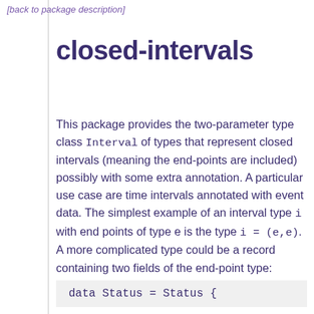[back to package description]
closed-intervals
This package provides the two-parameter type class Interval of types that represent closed intervals (meaning the end-points are included) possibly with some extra annotation. A particular use case are time intervals annotated with event data. The simplest example of an interval type i with end points of type e is the type i = (e,e). A more complicated type could be a record containing two fields of the end-point type: